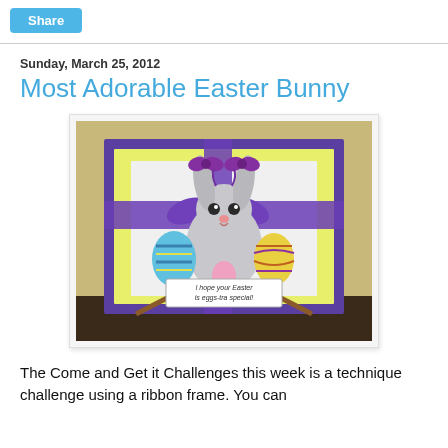Share
Sunday, March 25, 2012
Most Adorable Easter Bunny
[Figure (photo): A handmade Easter greeting card displayed on a small easel. The card features a cute illustrated bunny with purple bows on its ears, surrounded by colorful Easter eggs. The card is framed with a purple satin ribbon bow and layered cardstock in purple and yellow. A banner on the card reads: I hope your Easter is eggs-tra special.]
The Come and Get it Challenges this week is a technique challenge using a ribbon frame.  You can